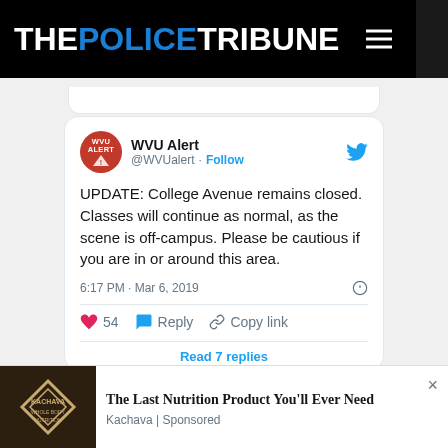THE POLICE TRIBUNE
[Figure (screenshot): Tweet card from WVU Alert (@WVUalert): UPDATE: College Avenue remains closed. Classes will continue as normal, as the scene is off-campus. Please be cautious if you are in or around this area. 6:17 PM · Mar 6, 2019. 54 likes. Reply. Copy link. Read 7 replies.]
The Last Nutrition Product You'll Ever Need
Kachava | Sponsored